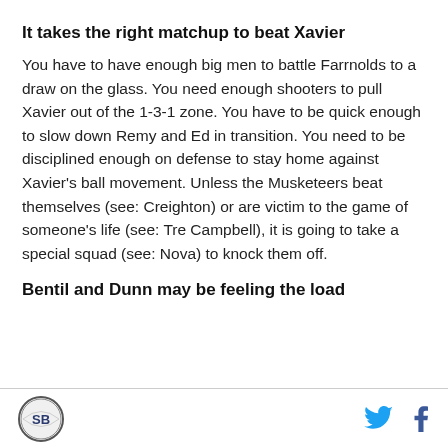It takes the right matchup to beat Xavier
You have to have enough big men to battle Farrnolds to a draw on the glass. You need enough shooters to pull Xavier out of the 1-3-1 zone. You have to be quick enough to slow down Remy and Ed in transition. You need to be disciplined enough on defense to stay home against Xavier's ball movement. Unless the Musketeers beat themselves (see: Creighton) or are victim to the game of someone's life (see: Tre Campbell), it is going to take a special squad (see: Nova) to knock them off.
Bentil and Dunn may be feeling the load
[Figure (logo): SB Nation / Big East Coast Bias circular logo]
[Figure (logo): Twitter bird icon (blue) and Facebook f icon (blue/dark)]